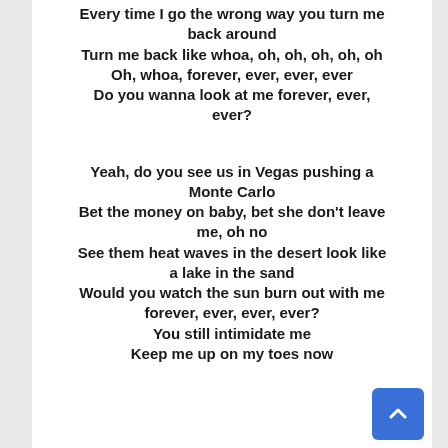Every time I go the wrong way you turn me back around
Turn me back like whoa, oh, oh, oh, oh, oh
Oh, whoa, forever, ever, ever, ever
Do you wanna look at me forever, ever, ever?

Yeah, do you see us in Vegas pushing a Monte Carlo
Bet the money on baby, bet she don't leave me, oh no
See them heat waves in the desert look like a lake in the sand
Would you watch the sun burn out with me forever, ever, ever, ever?
You still intimidate me
Keep me up on my toes now